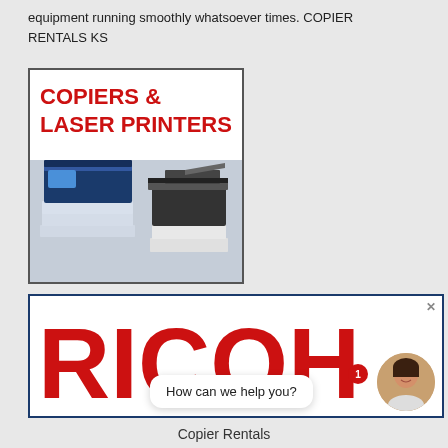equipment running smoothly whatsoever times. COPIER RENTALS KS
[Figure (illustration): Advertisement image for Copiers & Laser Printers showing two office multifunction devices — a large navy/white copier on the left and a smaller black/white laser printer on the right, with red bold text 'COPIERS & LASER PRINTERS' at the top]
[Figure (logo): RICOH logo in large red bold capital letters inside a dark blue bordered rectangle, with a chat bubble overlay saying 'How can we help you?' and a female avatar with a notification badge showing '1']
Copier Rentals